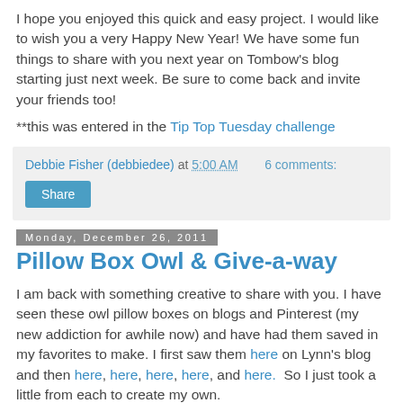I hope you enjoyed this quick and easy project. I would like to wish you a very Happy New Year! We have some fun things to share with you next year on Tombow's blog starting just next week. Be sure to come back and invite your friends too!
**this was entered in the Tip Top Tuesday challenge
Debbie Fisher (debbiedee) at 5:00 AM   6 comments:
Share
Monday, December 26, 2011
Pillow Box Owl & Give-a-way
I am back with something creative to share with you. I have seen these owl pillow boxes on blogs and Pinterest (my new addiction for awhile now) and have had them saved in my favorites to make. I first saw them here on Lynn's blog and then here, here, here, here, and here.  So I just took a little from each to create my own.